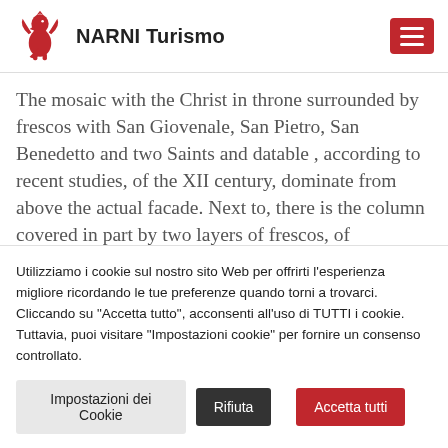NARNI Turismo
The mosaic with the Christ in throne surrounded by frescos with San Giovenale, San Pietro, San Benedetto and two Saints and datable , according to recent studies, of the XII century, dominate from above the actual facade. Next to, there is the column covered in part by two layers of frescos, of
Utilizziamo i cookie sul nostro sito Web per offrirti l'esperienza migliore ricordando le tue preferenze quando torni a trovarci. Cliccando su "Accetta tutto", acconsenti all'uso di TUTTI i cookie. Tuttavia, puoi visitare "Impostazioni cookie" per fornire un consenso controllato.
Impostazioni dei Cookie
Rifiuta
Accetta tutti